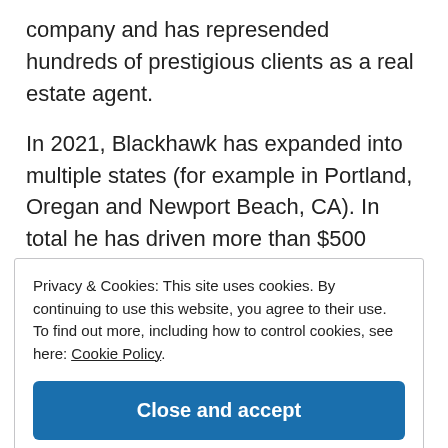company and has represended hundreds of prestigious clients as a real estate agent.
In 2021, Blackhawk has expanded into multiple states (for example in Portland, Oregan and Newport Beach, CA). In total he has driven more than $500 million in real estate transactions.
This blog will be frequently updated with more
Privacy & Cookies: This site uses cookies. By continuing to use this website, you agree to their use.
To find out more, including how to control cookies, see here: Cookie Policy
Close and accept
companies over the last year. Here's a short